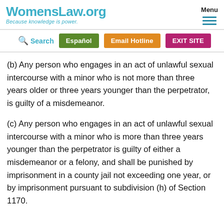WomensLaw.org — Because knowledge is power.
(b) Any person who engages in an act of unlawful sexual intercourse with a minor who is not more than three years older or three years younger than the perpetrator, is guilty of a misdemeanor.
(c) Any person who engages in an act of unlawful sexual intercourse with a minor who is more than three years younger than the perpetrator is guilty of either a misdemeanor or a felony, and shall be punished by imprisonment in a county jail not exceeding one year, or by imprisonment pursuant to subdivision (h) of Section 1170.